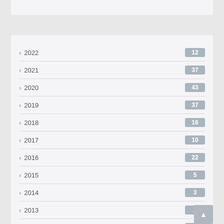2022 · 12
2021 · 37
2020 · 43
2019 · 37
2018 · 16
2017 · 10
2016 · 22
2015 · 5
2014 · 3
2013 · 1
2012 · 2